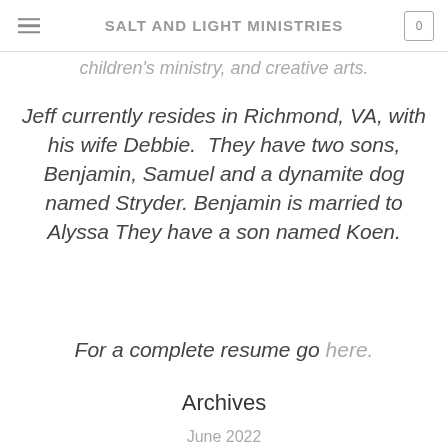SALT AND LIGHT MINISTRIES
children's ministry, and creative arts.
Jeff currently resides in Richmond, VA, with his wife Debbie.  They have two sons, Benjamin, Samuel and a dynamite dog named Stryder. Benjamin is married to Alyssa They have a son named Koen.
For a complete resume go here.
Archives
June 2022
May 2022
April 2022
February 2022
February 2021
April 2020